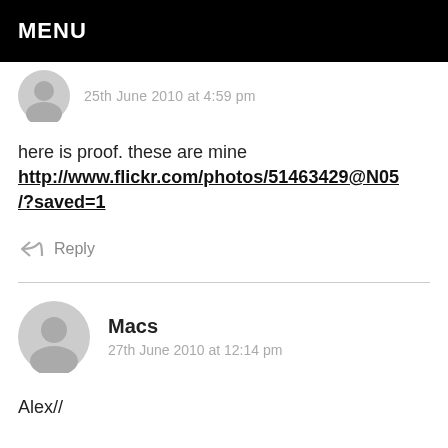MENU
25th June 2010 at 4:59 pm
here is proof. these are mine http://www.flickr.com/photos/51463429@N05/?saved=1
Reply
Macs
27th June 2010 at 12:14 pm
Alex//
Where did you get them?